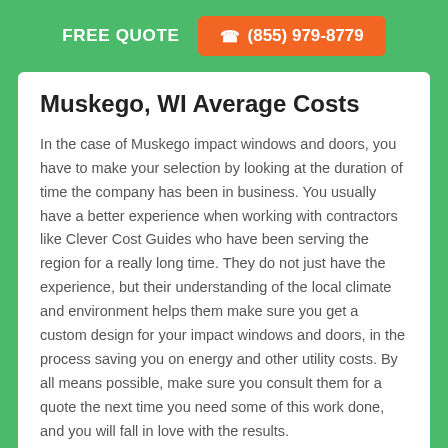FREE QUOTE  ☎ (855) 979-8779
Muskego, WI Average Costs
In the case of Muskego impact windows and doors, you have to make your selection by looking at the duration of time the company has been in business. You usually have a better experience when working with contractors like Clever Cost Guides who have been serving the region for a really long time. They do not just have the experience, but their understanding of the local climate and environment helps them make sure you get a custom design for your impact windows and doors, in the process saving you on energy and other utility costs. By all means possible, make sure you consult them for a quote the next time you need some of this work done, and you will fall in love with the results.